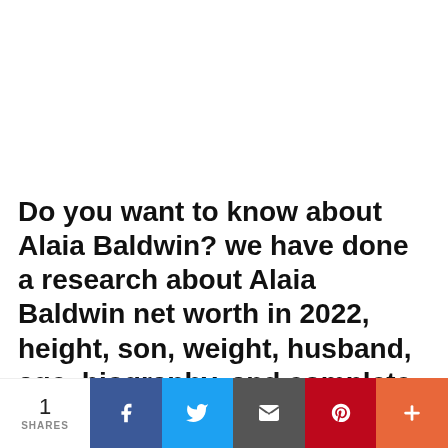Do you want to know about Alaia Baldwin? we have done a research about Alaia Baldwin net worth in 2022, height, son, weight, husband, age, biography, and complete detail about her life
1 SHARES